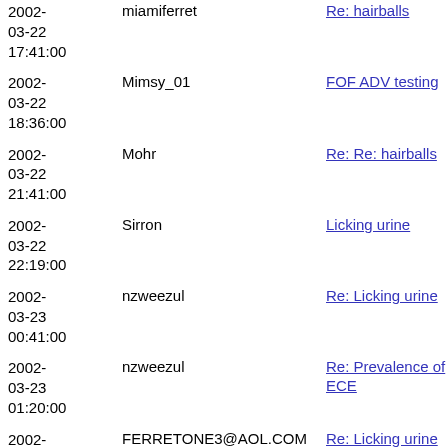| Date | Author | Subject |
| --- | --- | --- |
| 2002-03-22 17:41:00 | miamiferret | Re: hairballs |
| 2002-03-22 18:36:00 | Mimsy_01 | FOF ADV testing |
| 2002-03-22 21:41:00 | Mohr | Re: Re: hairballs |
| 2002-03-22 22:19:00 | Sirron | Licking urine |
| 2002-03-23 00:41:00 | nzweezul | Re: Licking urine |
| 2002-03-23 01:20:00 | nzweezul | Re: Prevalence of ECE |
| 2002-03-23 05:03:00 | FERRETONE3@AOL.COM | Re: Licking urine |
| 2002-03-23 09:08:00 | kalee_cline | Over the Counter Ear Mite Medicine? |
| 2002-03-23 12:05:00 | Suzanne Owens | Re: Congenital Heart disease kit |